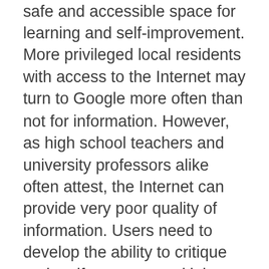safe and accessible space for learning and self-improvement. More privileged local residents with access to the Internet may turn to Google more often than not for information. However, as high school teachers and university professors alike often attest, the Internet can provide very poor quality of information. Users need to develop the ability to critique and verify sources and it is difficult and time consuming to navigate. It is incomparable with the assistance a trained librarian can offer in accessing high quality, accurate information.
In closing Toronto libraries, Mayor Ford would be choosing to ignore the needs of the poorest in the city – those that cannot afford such